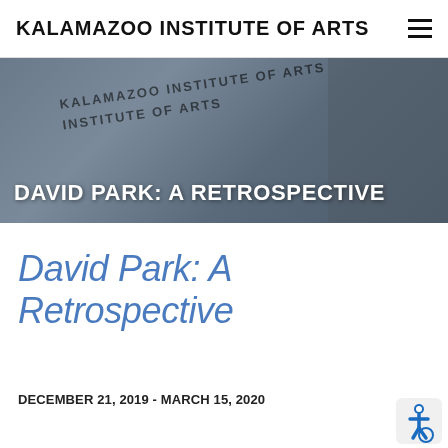KALAMAZOO INSTITUTE OF ARTS
[Figure (photo): Photo of Kalamazoo Institute of Arts building exterior with signage reading 'KALAMAZOO INSTITUTE OF ARTS', overlaid with white bold text 'DAVID PARK: A RETROSPECTIVE']
David Park: A Retrospective
DECEMBER 21, 2019 - MARCH 15, 2020